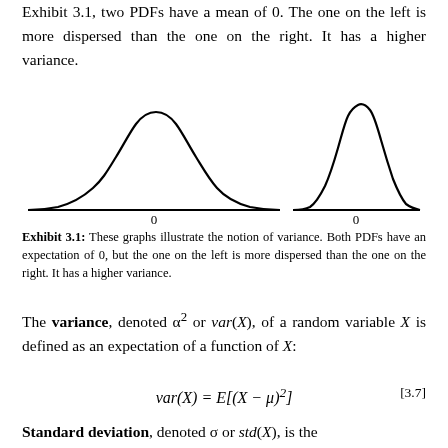Exhibit 3.1, two PDFs have a mean of 0. The one on the left is more dispersed than the one on the right. It has a higher variance.
[Figure (continuous-plot): Two normal distribution PDFs side by side, both centered at 0. The left one is wider/flatter (higher variance), the right one is taller/narrower (lower variance). Each has a horizontal axis with '0' labeled at the center.]
Exhibit 3.1: These graphs illustrate the notion of variance. Both PDFs have an expectation of 0, but the one on the left is more dispersed than the one on the right. It has a higher variance.
The variance, denoted σ² or var(X), of a random variable X is defined as an expectation of a function of X:
Standard deviation, denoted σ or std(X), is the